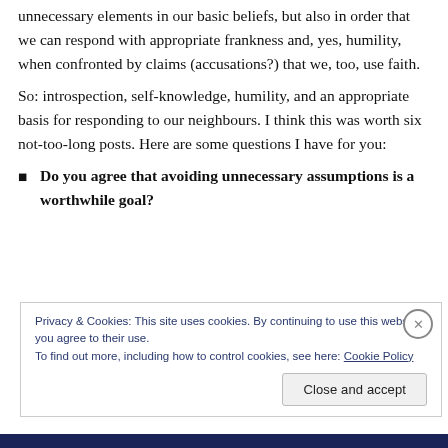unnecessary elements in our basic beliefs, but also in order that we can respond with appropriate frankness and, yes, humility, when confronted by claims (accusations?) that we, too, use faith.
So: introspection, self-knowledge, humility, and an appropriate basis for responding to our neighbours. I think this was worth six not-too-long posts. Here are some questions I have for you:
Do you agree that avoiding unnecessary assumptions is a worthwhile goal?
Privacy & Cookies: This site uses cookies. By continuing to use this website, you agree to their use.
To find out more, including how to control cookies, see here: Cookie Policy
Close and accept